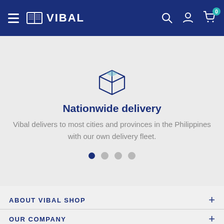VIBAL - Navigation header with hamburger menu, logo, search, account, and cart (0 items)
[Figure (illustration): Blue outline box/package delivery icon]
Nationwide delivery
Vibal delivers to most cities and provinces in the Philippines with our own delivery fleet.
[Figure (other): Carousel pagination dots: 4 dots, first one active (filled dark blue), rest grey]
ABOUT VIBAL SHOP
OUR COMPANY
NEWSLETTER